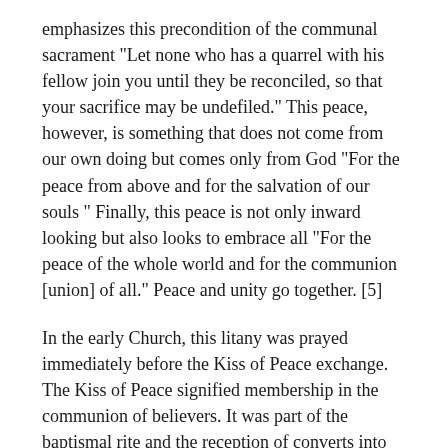emphasizes this precondition of the communal sacrament "Let none who has a quarrel with his fellow join you until they be reconciled, so that your sacrifice may be undefiled." This peace, however, is something that does not come from our own doing but comes only from God "For the peace from above and for the salvation of our souls " Finally, this peace is not only inward looking but also looks to embrace all "For the peace of the whole world and for the communion [union] of all." Peace and unity go together. [5]
In the early Church, this litany was prayed immediately before the Kiss of Peace exchange. The Kiss of Peace signified membership in the communion of believers. It was part of the baptismal rite and the reception of converts into the faith. It was further included by the Apostolic Constitutions [6] in the form of the Prayer for the Faithful " and let the deacon [emphasis mine] say to all, salute one another with the holy kiss " According to the noted liturgical